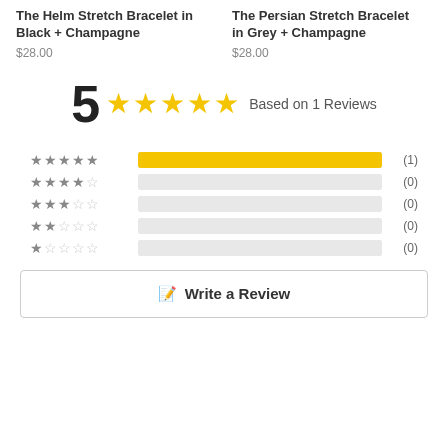The Helm Stretch Bracelet in Black + Champagne
$28.00
The Persian Stretch Bracelet in Grey + Champagne
$28.00
5 ★★★★★ Based on 1 Reviews
[Figure (infographic): Rating breakdown bars: 5-star (1), 4-star (0), 3-star (0), 2-star (0), 1-star (0)]
Write a Review